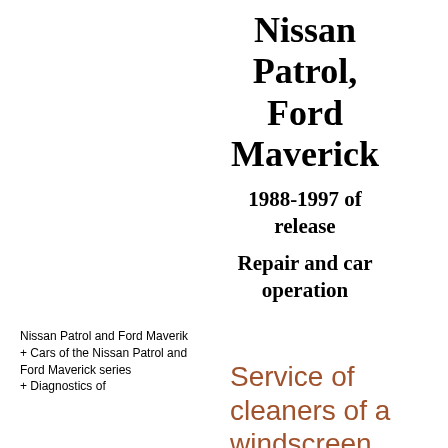Nissan Patrol, Ford Maverick
1988-1997 of release
Repair and car operation
Nissan Patrol and Ford Maverik
+ Cars of the Nissan Patrol and Ford Maverick series
+ Diagnostics of
Service of cleaners of a windscreen